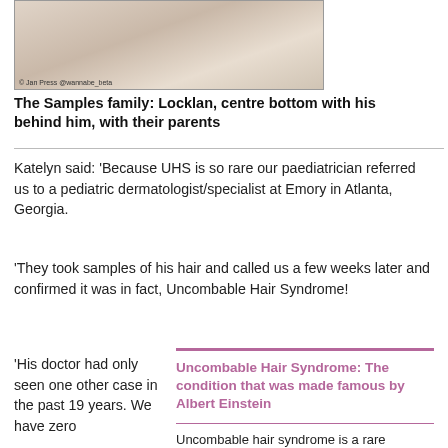[Figure (photo): Photo of the Samples family with babies on a light background, photo credit visible]
The Samples family: Locklan, centre bottom with his behind him, with their parents
Katelyn said: 'Because UHS is so rare our paediatrician referred us to a pediatric dermatologist/specialist at Emory in Atlanta, Georgia.
'They took samples of his hair and called us a few weeks later and confirmed it was in fact, Uncombable Hair Syndrome!
'His doctor had only seen one other case in the past 19 years. We have zero
Uncombable Hair Syndrome: The condition that was made famous by Albert Einstein
Uncombable hair syndrome is a rare inherited disorder that causes